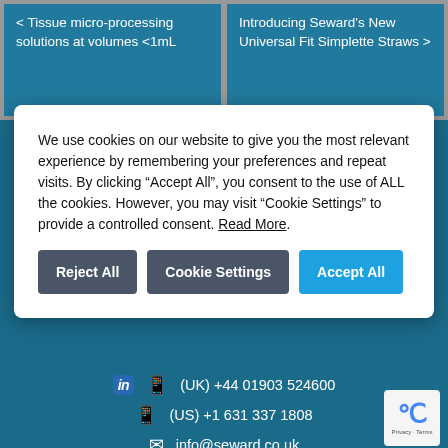< Tissue micro-processing solutions at volumes <1mL
Introducing Seward's New Universal Fit Simplette Straws >
We use cookies on our website to give you the most relevant experience by remembering your preferences and repeat visits. By clicking “Accept All”, you consent to the use of ALL the cookies. However, you may visit “Cookie Settings” to provide a controlled consent. Read More.
Reject All
Cookie Settings
Accept All
(UK) +44 01903 524600
(US) +1 631 337 1808
info@seward.co.uk